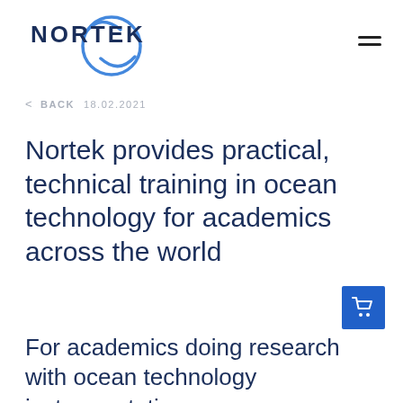[Figure (logo): Nortek logo: text NORTEK with a circular blue swoosh/wave graphic]
< BACK 18.02.2021
Nortek provides practical, technical training in ocean technology for academics across the world
For academics doing research with ocean technology instrumentation,